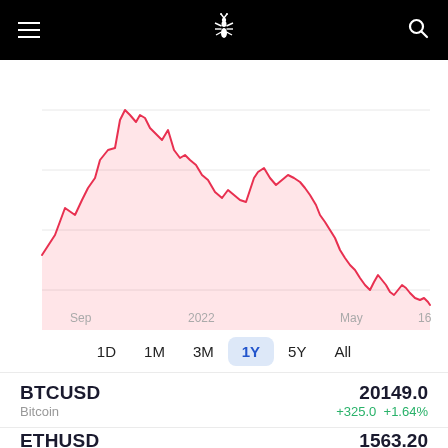Navigation header with menu, logo, and search
[Figure (area-chart): 1-year area/line chart of Bitcoin (BTCUSD) price in USD showing a peak around Nov 2021 (~$69k) declining sharply through 2022 to approximately $20k by mid-June 2022. The line and fill are red/pink. X-axis labels: Sep, 2022, May, 16.]
1D  1M  3M  1Y  5Y  All
BTCUSD
Bitcoin
20149.0
+325.0  +1.64%
ETHUSD
Ethereum
1563.20
+37.90  +2.48%